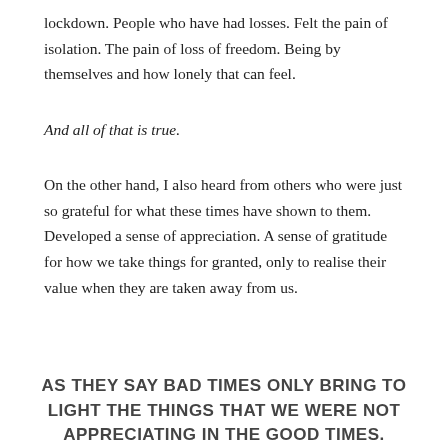lockdown. People who have had losses. Felt the pain of isolation. The pain of loss of freedom. Being by themselves and how lonely that can feel.
And all of that is true.
On the other hand, I also heard from others who were just so grateful for what these times have shown to them. Developed a sense of appreciation. A sense of gratitude for how we take things for granted, only to realise their value when they are taken away from us.
AS THEY SAY BAD TIMES ONLY BRING TO LIGHT THE THINGS THAT WE WERE NOT APPRECIATING IN THE GOOD TIMES.
Do you know what you focus on?
Remember the old saying, “What we resist, persists”. As